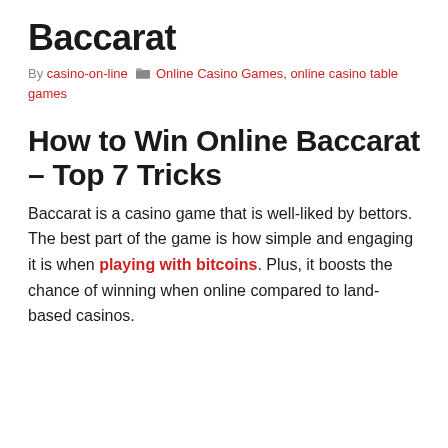Baccarat
By casino-on-line  📁 Online Casino Games, online casino table games
How to Win Online Baccarat – Top 7 Tricks
Baccarat is a casino game that is well-liked by bettors. The best part of the game is how simple and engaging it is when playing with bitcoins. Plus, it boosts the chance of winning when online compared to land-based casinos.